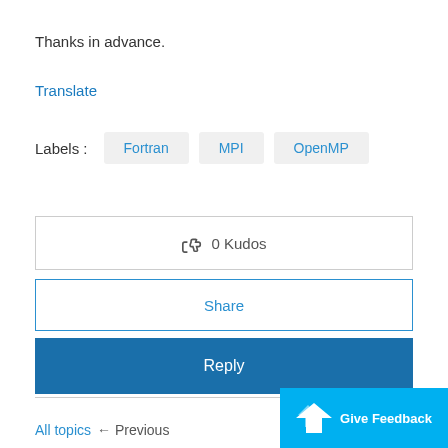Thanks in advance.
Translate
Labels :   Fortran   MPI   OpenMP
👍  0 Kudos
Share
Reply
All topics   ← Previous
Give Feedback